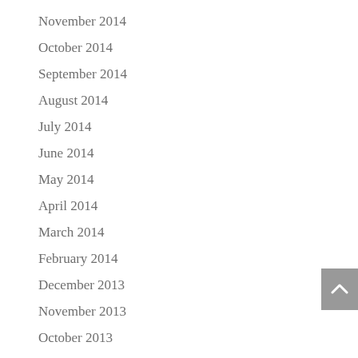November 2014
October 2014
September 2014
August 2014
July 2014
June 2014
May 2014
April 2014
March 2014
February 2014
December 2013
November 2013
October 2013